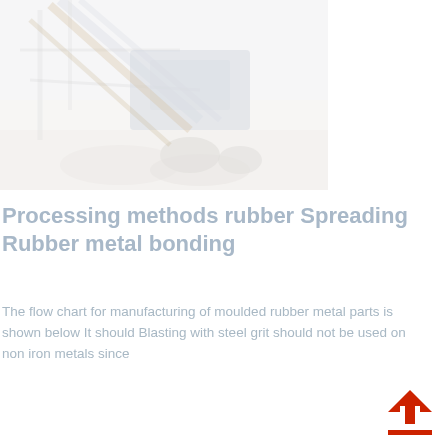[Figure (photo): Industrial machinery or construction equipment photographed at a worksite, showing structural steel framework and machinery parts, faded/washed out appearance]
Processing methods rubber Spreading Rubber metal bonding
The flow chart for manufacturing of moulded rubber metal parts is shown below It should Blasting with steel grit should not be used on non iron metals since
[Figure (other): Red upward arrow icon with a red underline beneath it, indicating an upload or scroll-to-top action]